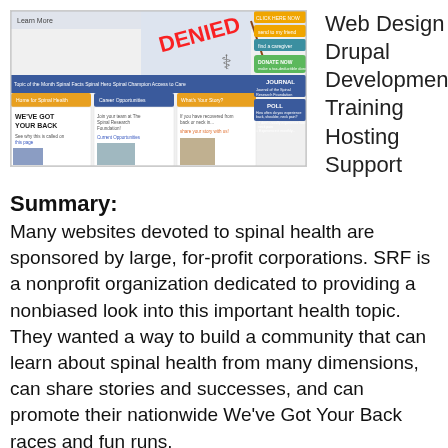[Figure (screenshot): Screenshot of a spinal health website (SRF) showing navigation, donation button, 'We've Got Your Back' section, journal, and poll elements]
Web Design
Drupal
Development
Training
Hosting
Support
Summary:
Many websites devoted to spinal health are sponsored by large, for-profit corporations. SRF is a nonprofit organization dedicated to providing a nonbiased look into this important health topic. They wanted a way to build a community that can learn about spinal health from many dimensions, can share stories and successes, and can promote their nationwide We've Got Your Back races and fun runs.
The existing website did not garner much traffic because it was too difficult to keep content relevant and updated. A